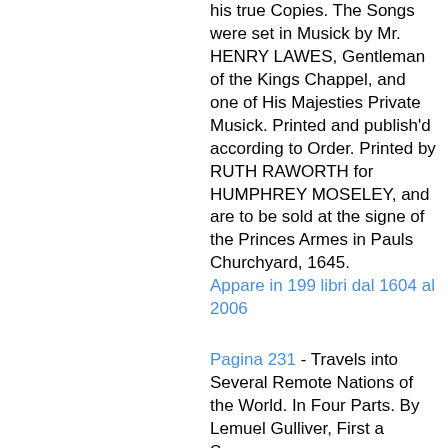his true Copies. The Songs were set in Musick by Mr. HENRY LAWES, Gentleman of the Kings Chappel, and one of His Majesties Private Musick. Printed and publish'd according to Order. Printed by RUTH RAWORTH for HUMPHREY MOSELEY, and are to be sold at the signe of the Princes Armes in Pauls Churchyard, 1645.
Appare in 199 libri dal 1604 al 2006
Pagina 231 - Travels into Several Remote Nations of the World. In Four Parts. By Lemuel Gulliver, First a Surgeon,